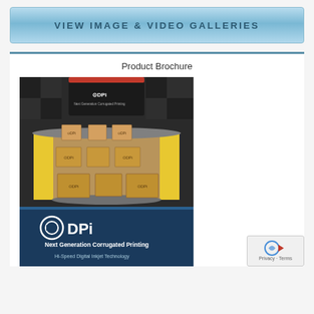VIEW IMAGE & VIDEO GALLERIES
Product Brochure
[Figure (illustration): DPi Next Generation Corrugated Printing product brochure cover. Shows a conveyor belt carrying cardboard boxes printed with DPi logos, with the DPi logo large at the bottom and text 'Next Generation Corrugated Printing' and 'Hi-Speed Digital Inkjet Technology'. Dark checkered background with blue gradient at bottom.]
[Figure (logo): reCAPTCHA privacy badge with circular arrow logo and 'Privacy - Terms' text]